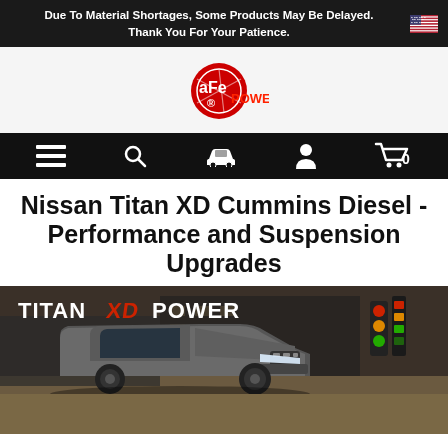Due To Material Shortages, Some Products May Be Delayed. Thank You For Your Patience.
[Figure (logo): aFe Power logo - red circular logo with aFe text and POWER written in red]
[Figure (infographic): Navigation bar with hamburger menu, search, car, user, and cart icons on black background]
Nissan Titan XD Cummins Diesel - Performance and Suspension Upgrades
[Figure (photo): TITAN XD POWER promotional banner showing a grey Nissan Titan XD truck on a dirt lot with industrial background and traffic lights]